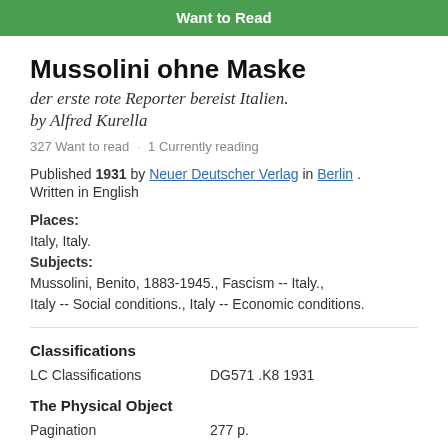Want to Read
Mussolini ohne Maske
der erste rote Reporter bereist Italien.
by Alfred Kurella
327 Want to read · 1 Currently reading
Published 1931 by Neuer Deutscher Verlag in Berlin . Written in English
Places:
Italy, Italy.
Subjects:
Mussolini, Benito, 1883-1945., Fascism -- Italy., Italy -- Social conditions., Italy -- Economic conditions.
Classifications
LC Classifications    DG571 .K8 1931
The Physical Object
Pagination    277 p.